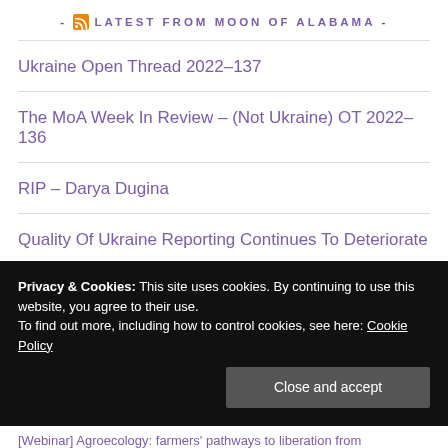- LATEST FROM MOON OF ALABAMA -
Ukraine Open Thread 2022-137
The MoA Week In Review – (Not Ukraine) OT 2022-136
RIP – Darya Dugina
Quality Of Ukraine Reporting Continues To Deteriorate
Ukraine Open Thread 2022-135
Privacy & Cookies: This site uses cookies. By continuing to use this website, you agree to their use.
To find out more, including how to control cookies, see here: Cookie Policy
Close and accept
[Webinar] Agroecology: farmers' pathways to liberation from